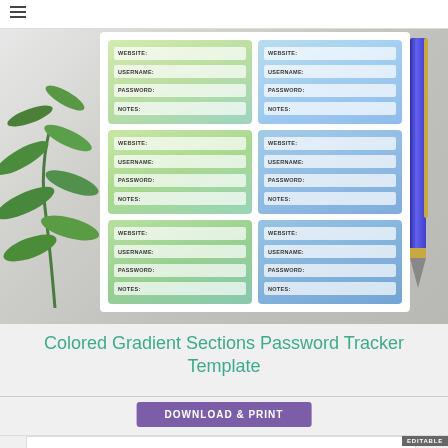[Figure (screenshot): Product screenshot of a Colored Gradient Sections Password Tracker Template showing a grid of 6 password entry boxes (3 rows x 2 columns) with green and blue gradient backgrounds. Each box contains fields: WEBSITE, USERNAME, PASSWORD, NOTES. A plant with green leaves is visible on the left side and a purple pen on the right, all on a marble surface background.]
Colored Gradient Sections Password Tracker Template
DOWNLOAD & PRINT
EDITABLE